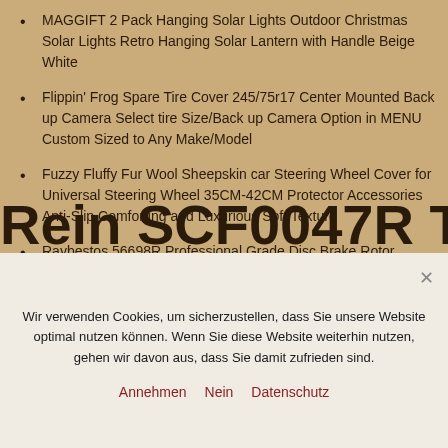MAGGIFT 2 Pack Hanging Solar Lights Outdoor Christmas Solar Lights Retro Hanging Solar Lantern with Handle Beige White
Flippin' Frog Spare Tire Cover 245/75r17 Center Mounted Back up Camera Select tire Size/Back up Camera Option in MENU Custom Sized to Any Make/Model
Fuzzy Fluffy Fur Wool Sheepskin car Steering Wheel Cover for Universal Steering Wheel 35CM-42CM Protector Accessories Anti-Slip,Comforting and Luxurious Soft Texture
Raybestos 56698R Professional Grade Disc Brake Rotor
Rein SCF0047R Tie Rod
Wir verwenden Cookies, um sicherzustellen, dass Sie unsere Website optimal nutzen können. Wenn Sie diese Website weiterhin nutzen, gehen wir davon aus, dass Sie damit zufrieden sind.
Annehmen  Nein  Datenschutz